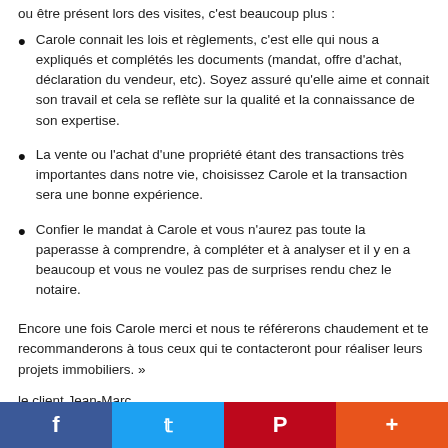ou être présent lors des visites, c'est beaucoup plus :
Carole connait les lois et règlements, c'est elle qui nous a expliqués et complétés les documents (mandat, offre d'achat, déclaration du vendeur, etc). Soyez assuré qu'elle aime et connait son travail et cela se reflète sur la qualité et la connaissance de son expertise.
La vente ou l'achat d'une propriété étant des transactions très importantes dans notre vie, choisissez Carole et la transaction sera une bonne expérience.
Confier le mandat à Carole et vous n'aurez pas toute la paperasse à comprendre, à compléter et à analyser et il y en a beaucoup et vous ne voulez pas de surprises rendu chez le notaire.
Encore une fois Carole merci et nous te référerons chaudement et te recommanderons à tous ceux qui te contacteront pour réaliser leurs projets immobiliers. »
le client Jean-Marc